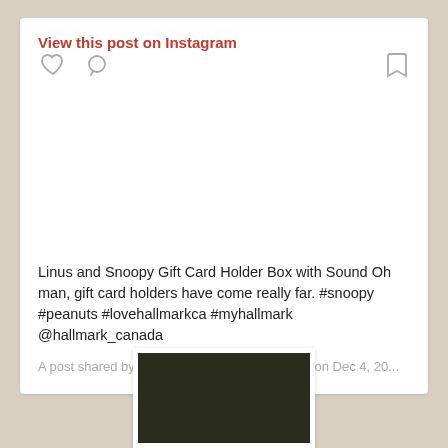View this post on Instagram
[Figure (photo): Empty white space representing an Instagram embedded post image area with like, comment, and bookmark icons]
Linus and Snoopy Gift Card Holder Box with Sound Oh man, gift card holders have come really far. #snoopy #peanuts #lovehallmarkca #myhallmark @hallmark_canada
A post shared by Narathip Wall (@narathipwall) on Dec 4, 20...
[Figure (photo): Partial photo at bottom of page showing a dark green/brown background, appears to be a product image]